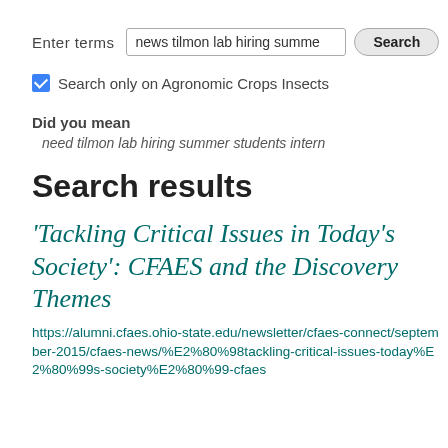Enter terms  [news tilmon lab hiring summe]  [Search]
☑ Search only on Agronomic Crops Insects
Did you mean
need tilmon lab hiring summer students intern
Search results
'Tackling Critical Issues in Today's Society': CFAES and the Discovery Themes
https://alumni.cfaes.ohio-state.edu/newsletter/cfaes-connect/september-2015/cfaes-news/%E2%80%98tackling-critical-issues-today%E2%80%99s-society%E2%80%99-cfaes